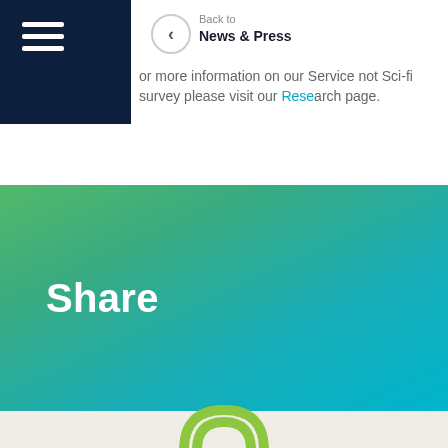Back to News & Press
or more information on our Service not Sci-fi survey please visit our Research page.
Share
[Figure (logo): Green phone/WiFi arc icon visible at bottom of page on cream background]